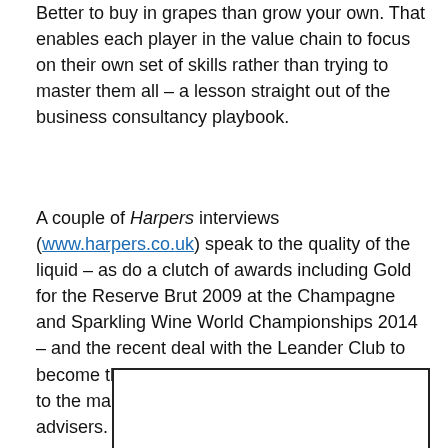Better to buy in grapes than grow your own. That enables each player in the value chain to focus on their own set of skills rather than trying to master them all – a lesson straight out of the business consultancy playbook.
A couple of Harpers interviews (www.harpers.co.uk) speak to the quality of the liquid – as do a clutch of awards including Gold for the Reserve Brut 2009 at the Champagne and Sparkling Wine World Championships 2014 – and the recent deal with the Leander Club to become the official supplier of pink fizz testifies to the marketing nous of the Digby pair and their advisers.
[Figure (other): Empty bordered rectangle placeholder image box]